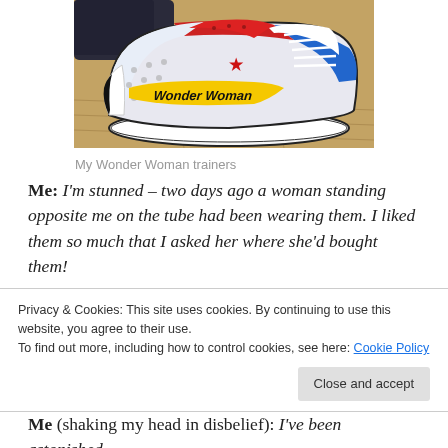[Figure (photo): A Wonder Woman themed Converse sneaker/trainer, white with red, blue and yellow Wonder Woman comic-style graphics and 'Wonder Woman' text on the side. The shoe is photographed on a wooden floor background.]
My Wonder Woman trainers
Me: I'm stunned – two days ago a woman standing opposite me on the tube had been wearing them. I liked them so much that I asked her where she'd bought them!
Privacy & Cookies: This site uses cookies. By continuing to use this website, you agree to their use.
To find out more, including how to control cookies, see here: Cookie Policy
Me (shaking my head in disbelief): I've been astonished